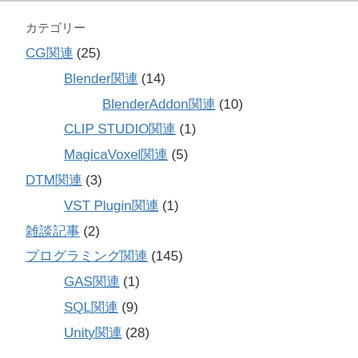カテゴリー
CG関連 (25)
Blender関連 (14)
BlenderAddon関連 (10)
CLIP STUDIO関連 (1)
MagicaVoxel関連 (5)
DTM関連 (3)
VST Plugin関連 (1)
雑談記事 (2)
プログラミング関連 (145)
GAS関連 (1)
SQL関連 (9)
Unity関連 (28)